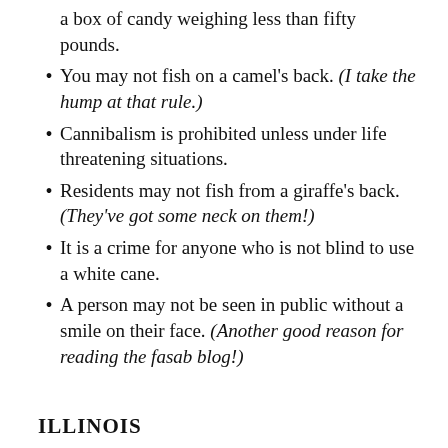a box of candy weighing less than fifty pounds.
You may not fish on a camel’s back. (I take the hump at that rule.)
Cannibalism is prohibited unless under life threatening situations.
Residents may not fish from a giraffe’s back. (They’ve got some neck on them!)
It is a crime for anyone who is not blind to use a white cane.
A person may not be seen in public without a smile on their face. (Another good reason for reading the fasab blog!)
ILLINOIS